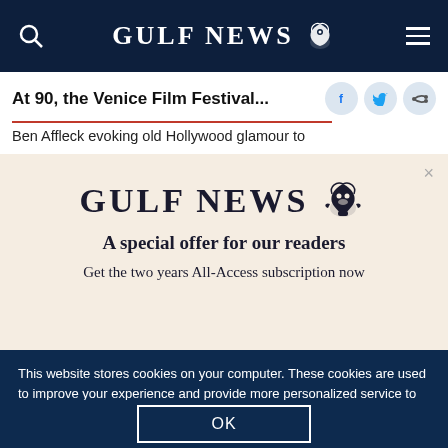GULF NEWS
At 90, the Venice Film Festival...
Ben Affleck evoking old Hollywood glamour to
[Figure (logo): Gulf News logo with eagle emblem and text 'GULF NEWS']
A special offer for our readers
Get the two years All-Access subscription now
This website stores cookies on your computer. These cookies are used to improve your experience and provide more personalized service to you. Both on your website and other media. To find out more about the cookies and data we use, please check out our Privacy Policy.
OK